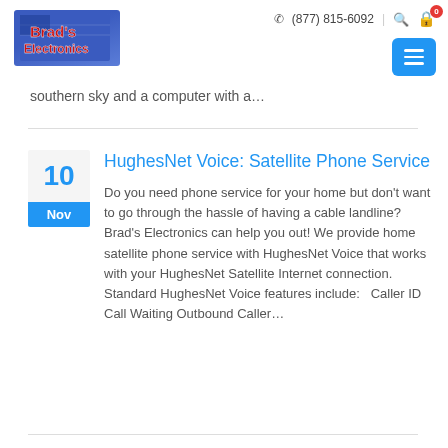[Figure (logo): Brad's Electronics logo with blue banner and red text]
(877) 815-6092
southern sky and a computer with a...
HughesNet Voice: Satellite Phone Service
Do you need phone service for your home but don't want to go through the hassle of having a cable landline? Brad's Electronics can help you out! We provide home satellite phone service with HughesNet Voice that works with your HughesNet Satellite Internet connection. Standard HughesNet Voice features include:   Caller ID Call Waiting Outbound Caller...